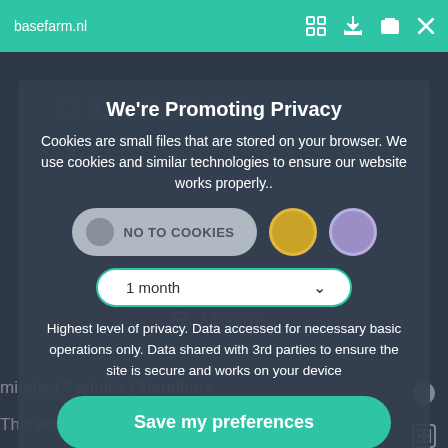basefarm.nl
We're Promoting Privacy
Cookies are small files that are stored on your browser. We use cookies and similar technologies to ensure our website works properly..
NO TO COOKIES
1 month
Highest level of privacy. Data accessed for necessary basic operations only. Data shared with 3rd parties to ensure the site is secure and works on your device
Save my preferences
Preferences
Privacy policy and Cookie policy